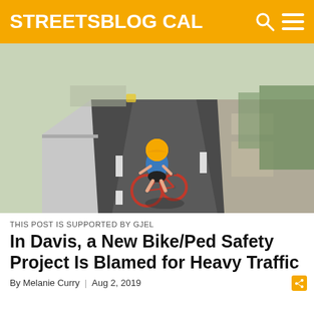STREETSBLOG CAL
[Figure (photo): A young child wearing an orange/yellow helmet and blue shirt rides a small red bicycle away from the camera on a protected bike lane. Concrete curb separators are visible on the left. A sidewalk and trees line the right side.]
THIS POST IS SUPPORTED BY GJEL
In Davis, a New Bike/Ped Safety Project Is Blamed for Heavy Traffic
By Melanie Curry | Aug 2, 2019